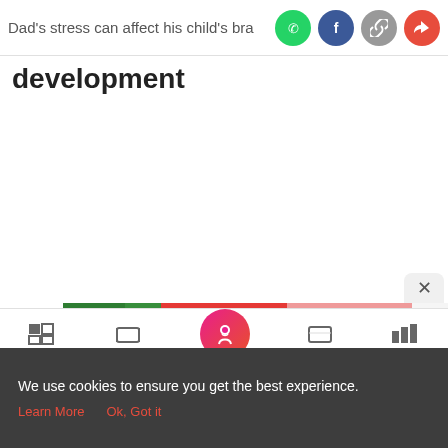Dad's stress can affect his child's brain development
development
[Figure (screenshot): Mobile web article page showing social share icons (WhatsApp, Facebook, copy link, share) and a large bold article title partially visible]
[Figure (infographic): Advertisement banner showing 'Become a master of shooter!' text with 'DOWNLOAD NOW' orange button on golden background]
[Figure (screenshot): Mobile app bottom navigation bar with Tools, Articles, home button, Feed, and Poll icons]
We use cookies to ensure you get the best experience.
Learn More   Ok, Got it